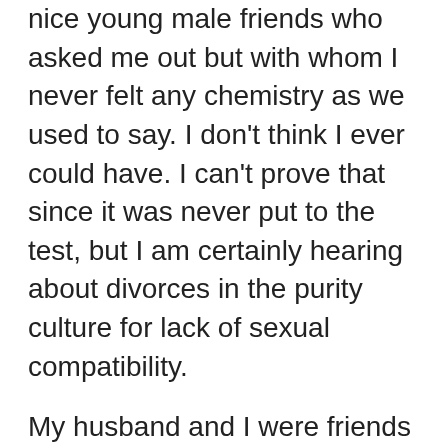nice young male friends who asked me out but with whom I never felt any chemistry as we used to say. I don't think I ever could have. I can't prove that since it was never put to the test, but I am certainly hearing about divorces in the purity culture for lack of sexual compatibility.
My husband and I were friends for years. I knew he was attractive, I knew he was a man of character, I knew he was a great friend, but I didn't know if we had any chemistry until our first date. He kissed me and we were planning marriage by the end of the day.
Sexual attraction is an important part of the whole package but it is just a part. Purity culture seems to invest sex with a magical importance it doesn't have.